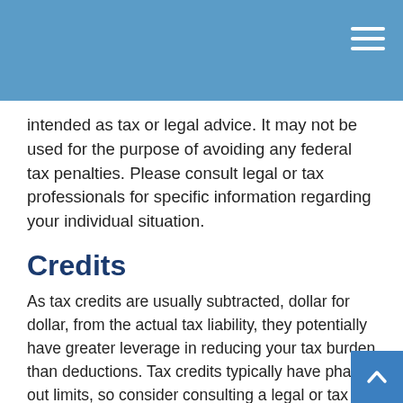intended as tax or legal advice. It may not be used for the purpose of avoiding any federal tax penalties. Please consult legal or tax professionals for specific information regarding your individual situation.
Credits
As tax credits are usually subtracted, dollar for dollar, from the actual tax liability, they potentially have greater leverage in reducing your tax burden than deductions. Tax credits typically have phase-out limits, so consider consulting a legal or tax professional for specific information regarding your individual situation.
Here are a few tax credits that you may be eligible fo
The Child Tax Credit is a federal tax credit for families with dependent children under age 17. Th